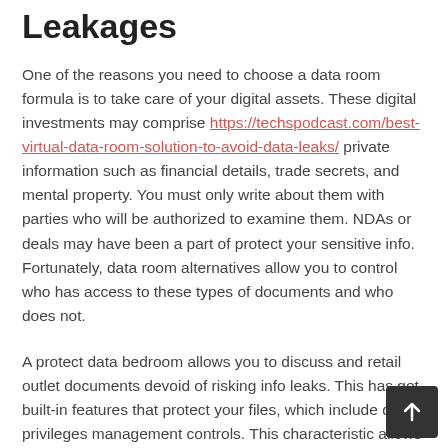Leakages
One of the reasons you need to choose a data room formula is to take care of your digital assets. These digital investments may comprise https://techspodcast.com/best-virtual-data-room-solution-to-avoid-data-leaks/ private information such as financial details, trade secrets, and mental property. You must only write about them with parties who will be authorized to examine them. NDAs or deals may have been a part of protect your sensitive info. Fortunately, data room alternatives allow you to control who has access to these types of documents and who does not.
A protect data bedroom allows you to discuss and retail outlet documents devoid of risking info leaks. This has got built-in features that protect your files, which include digital privileges management controls. This characteristic allows you to access digital assets by anywhere, and it removes the need for physical copies of the information. It means that no one can get your